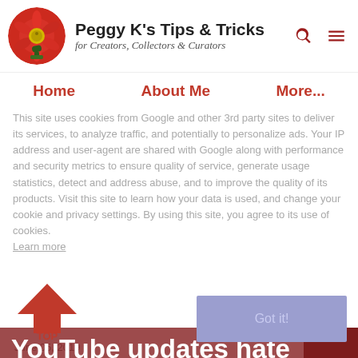Peggy K's Tips & Tricks for Creators, Collectors & Curators
Home   About Me   More...
This site uses cookies from Google and other 3rd party sites to deliver its services, to analyze traffic, and potentially to personalize ads. Your IP address and user-agent are shared with Google along with performance and security metrics to ensure quality of service, generate usage statistics, detect and address abuse, and to improve the quality of its products. Visit this site to learn how your data is used, and change your cookie and privacy settings. By using this site, you agree to its use of cookies.
Learn more
YouTube updates hate speech policy to cover supremacist content, Sandy Hook denialism and more
Got it!
June 05, 2019